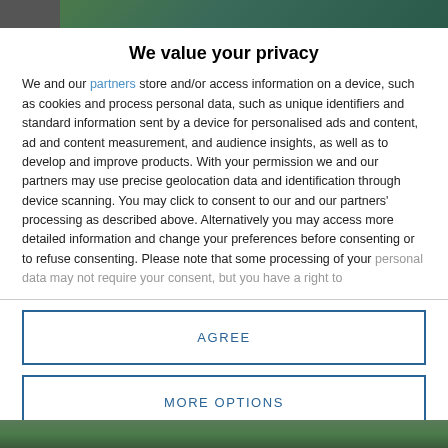[Figure (photo): Partial view of a green outdoor/nature scene image at top, with a dark grey/brown strip on the left.]
We value your privacy
We and our partners store and/or access information on a device, such as cookies and process personal data, such as unique identifiers and standard information sent by a device for personalised ads and content, ad and content measurement, and audience insights, as well as to develop and improve products. With your permission we and our partners may use precise geolocation data and identification through device scanning. You may click to consent to our and our partners' processing as described above. Alternatively you may access more detailed information and change your preferences before consenting or to refuse consenting. Please note that some processing of your personal data may not require your consent, but you have a right to
AGREE
MORE OPTIONS
[Figure (photo): Partial view of a green outdoor/nature scene image at bottom.]